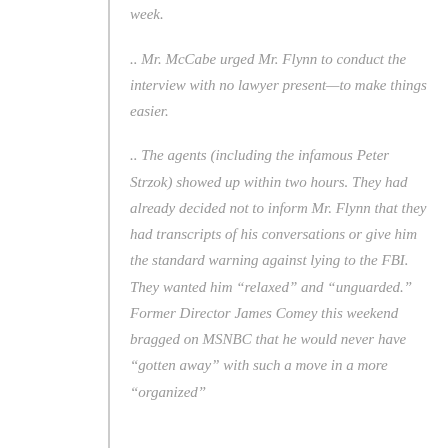week.
.. Mr. McCabe urged Mr. Flynn to conduct the interview with no lawyer present—to make things easier.
.. The agents (including the infamous Peter Strzok) showed up within two hours. They had already decided not to inform Mr. Flynn that they had transcripts of his conversations or give him the standard warning against lying to the FBI. They wanted him “relaxed” and “unguarded.” Former Director James Comey this weekend bragged on MSNBC that he would never have “gotten away” with such a move in a more “organized”